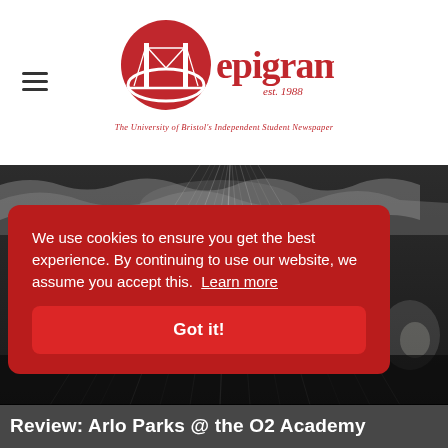epigram est. 1988 — The University of Bristol's Independent Student Newspaper
[Figure (photo): Concert venue photo showing dramatic light rays and stage lighting from above, dark atmospheric background]
We use cookies to ensure you get the best experience. By continuing to use our website, we assume you accept this. Learn more
Got it!
Review: Arlo Parks @ the O2 Academy